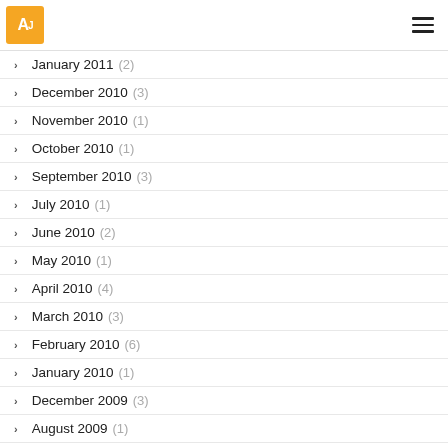AJ [logo] | hamburger menu
January 2011 (2)
December 2010 (3)
November 2010 (1)
October 2010 (1)
September 2010 (3)
July 2010 (1)
June 2010 (2)
May 2010 (1)
April 2010 (4)
March 2010 (3)
February 2010 (6)
January 2010 (1)
December 2009 (3)
August 2009 (1)